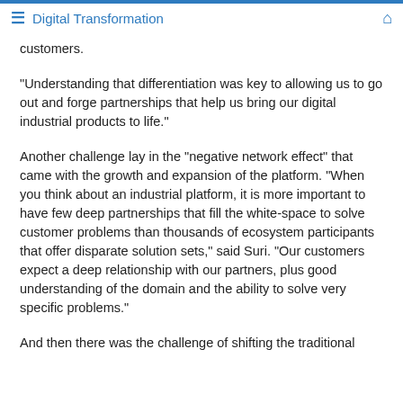≡ Digital Transformation 🏠
customers.
“Understanding that differentiation was key to allowing us to go out and forge partnerships that help us bring our digital industrial products to life.”
Another challenge lay in the “negative network effect” that came with the growth and expansion of the platform. “When you think about an industrial platform, it is more important to have few deep partnerships that fill the white-space to solve customer problems than thousands of ecosystem participants that offer disparate solution sets,” said Suri. “Our customers expect a deep relationship with our partners, plus good understanding of the domain and the ability to solve very specific problems.”
And then there was the challenge of shifting the traditional